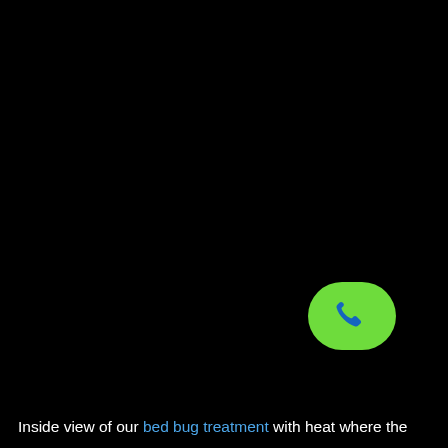[Figure (screenshot): Mostly black screen with a green oval phone call button (with a blue phone handset icon) in the lower-right area, resembling a smartphone incoming call screen.]
Inside view of our bed bug treatment with heat where the